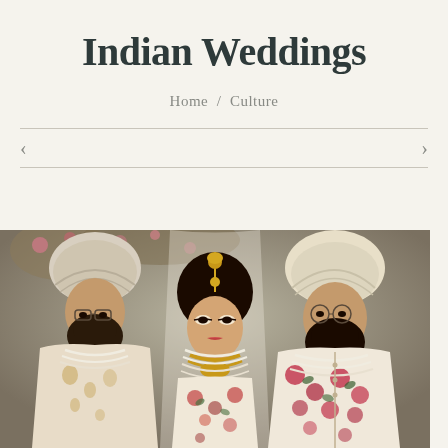Indian Weddings
Home / Culture
[Figure (photo): Three people in Indian wedding attire — two men wearing turbans and embroidered sherwanis, and a woman in the center wearing bridal lehenga, jewelry, and veil with gold maang tikka]